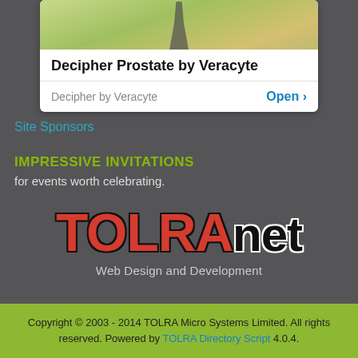[Figure (screenshot): App store advertisement card for 'Decipher Prostate by Veracyte' showing a photo at top, bold title, and an Open button with 'Decipher by Veracyte' subtitle.]
Site Sponsors
IMPRESSIVE INVITATIONS
for events worth celebrating.
[Figure (logo): TOLRAnet logo in large bold text with TOLRA in red and 'net' in black, with tagline 'Web Design and Development']
Copyright © 2003 - 2014 TOLRA Micro Systems Limited. All rights reserved. Powered by TOLRA Directory Script 4.0.4.